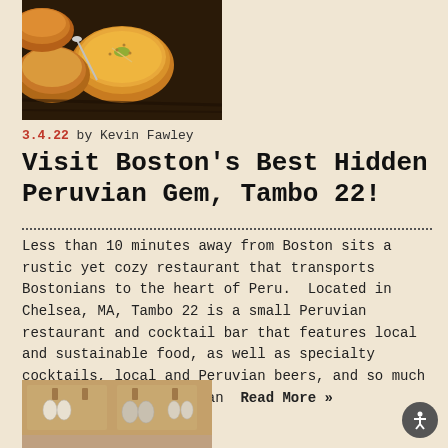[Figure (photo): Overhead view of bowls of golden Peruvian soup/stew with garnishes]
3.4.22  by Kevin Fawley
Visit Boston's Best Hidden Peruvian Gem, Tambo 22!
Less than 10 minutes away from Boston sits a rustic yet cozy restaurant that transports Bostonians to the heart of Peru.  Located in Chelsea, MA, Tambo 22 is a small Peruvian restaurant and cocktail bar that features local and sustainable food, as well as specialty cocktails, local and Peruvian beers, and so much more.  Inspired by Incan  Read More »
[Figure (photo): Cork board display with hanging earrings and jewelry items]